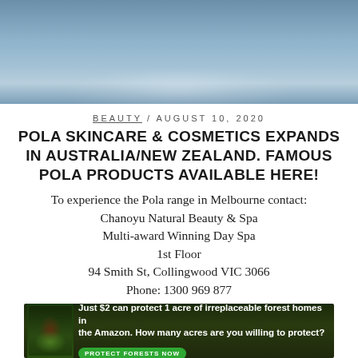[Figure (photo): Blue water surface with ripples and soft light reflection, shown as a cropped top image]
BEAUTY / AUGUST 10, 2020
POLA SKINCARE & COSMETICS EXPANDS IN AUSTRALIA/NEW ZEALAND. FAMOUS POLA PRODUCTS AVAILABLE HERE!
To experience the Pola range in Melbourne contact:
Chanoyu Natural Beauty & Spa
Multi-award Winning Day Spa
1st Floor
94 Smith St, Collingwood VIC 3066
Phone: 1300 969 877
Website: www.chanoyu.com.au
[Figure (photo): Advertisement banner: dark forest background with animal image, text 'Just $2 can protect 1 acre of irreplaceable forest homes in the Amazon. How many acres are you willing to protect?' with a green 'PROTECT FORESTS NOW' button]